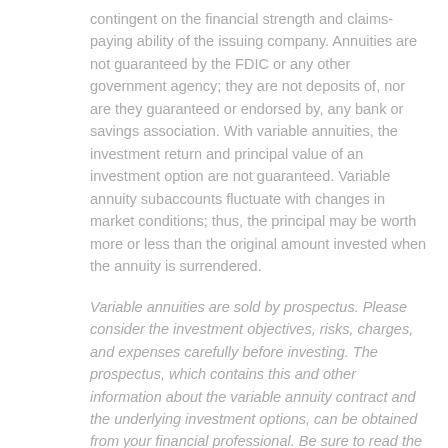contingent on the financial strength and claims-paying ability of the issuing company. Annuities are not guaranteed by the FDIC or any other government agency; they are not deposits of, nor are they guaranteed or endorsed by, any bank or savings association. With variable annuities, the investment return and principal value of an investment option are not guaranteed. Variable annuity subaccounts fluctuate with changes in market conditions; thus, the principal may be worth more or less than the original amount invested when the annuity is surrendered.
Variable annuities are sold by prospectus. Please consider the investment objectives, risks, charges, and expenses carefully before investing. The prospectus, which contains this and other information about the variable annuity contract and the underlying investment options, can be obtained from your financial professional. Be sure to read the prospectus carefully before investing.